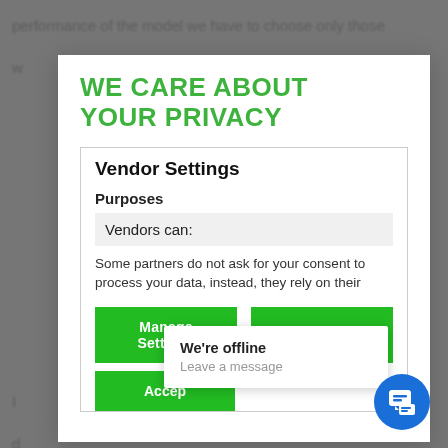performance of the model we have to choose only those
WE CARE ABOUT YOUR PRIVACY
Vendor Settings
Purposes
Vendors can:
Some partners do not ask for your consent to process your data, instead, they rely on their
Manage Settings
Vendors
Accept
We're offline
Leave a message
reinforcement types determine the loss.